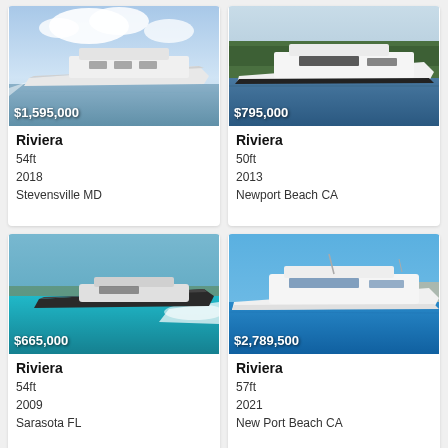[Figure (photo): Riviera motor yacht on water, white hull, cloudy sky, price overlay $1,595,000]
Riviera
54ft
2018
Stevensville MD
[Figure (photo): Riviera motor yacht on water, white hull, forested background, price overlay $795,000]
Riviera
50ft
2013
Newport Beach CA
[Figure (photo): Riviera sport yacht speeding on turquoise water, dark hull, price overlay $665,000]
Riviera
54ft
2009
Sarasota FL
[Figure (photo): Riviera luxury yacht on blue water, white hull, bright sky, price overlay $2,789,500]
Riviera
57ft
2021
New Port Beach CA